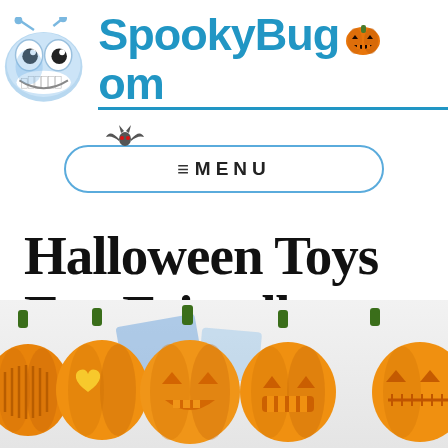[Figure (logo): SpookyBug.com website logo featuring a cartoon blue bug character on the left and a jack-o-lantern pumpkin replacing the 'o' in .com, with a blue horizontal underline beneath the text]
[Figure (other): Navigation menu bar with rounded borders and a bat icon above it, containing hamburger menu lines and the text MENU]
Halloween Toys Eco Friendly
[Figure (illustration): Row of five orange jack-o-lantern pumpkins with various carved face expressions, shown against a light gray background with some product packaging visible behind them]